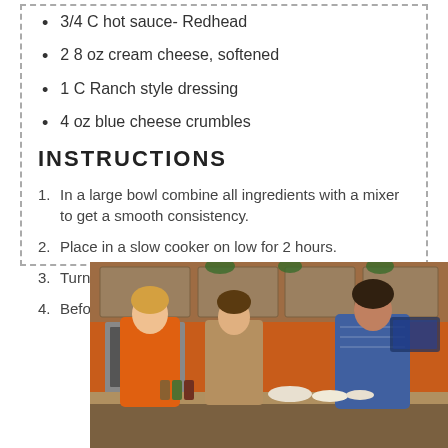3/4 C hot sauce- Redhead
2 8 oz cream cheese, softened
1 C Ranch style dressing
4 oz blue cheese crumbles
INSTRUCTIONS
1. In a large bowl combine all ingredients with a mixer to get a smooth consistency.
2. Place in a slow cooker on low for 2 hours.
3. Turn to warm if it gets too hot.
4. Before serving sprinkle with blue cheese.
[Figure (photo): Three people in a TV kitchen studio with orange walls; a woman in an orange jacket on the left, a man in a tan blazer in the center, and a woman in a blue patterned top on the right, standing behind a counter with food and bowls.]